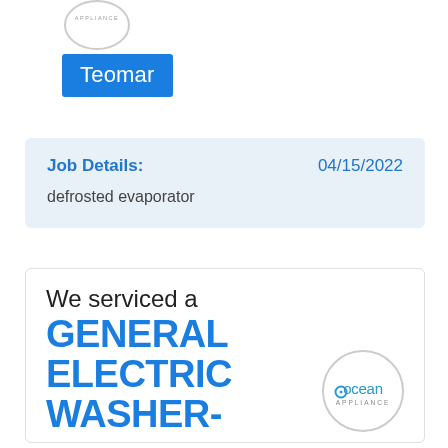[Figure (logo): Circular logo outline at top with text APPLIANCE]
Teomar
Job Details:    04/15/2022
defrosted evaporator
We serviced a
GENERAL ELECTRIC WASHER-
[Figure (logo): Ocean Appliance circular logo]